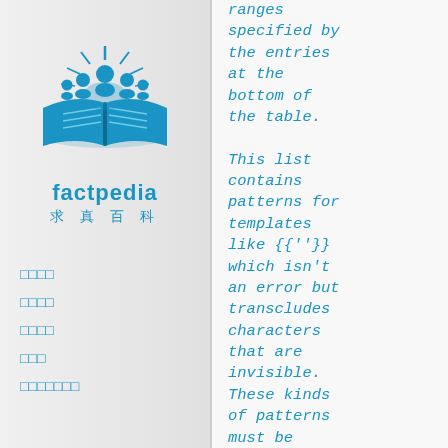[Figure (logo): Factpedia logo: blue open book with group of people above it and sun rays, with text 'factpedia' and Chinese characters '求真百科']
□□□□
□□□□
□□□□
□□□
□□□□□□□
ranges specified by the entries at the bottom of the table.

This list contains patterns for templates like {{'}} which isn't an error but transcludes characters that are invisible. These kinds of patterns must be recognized by the functions that use